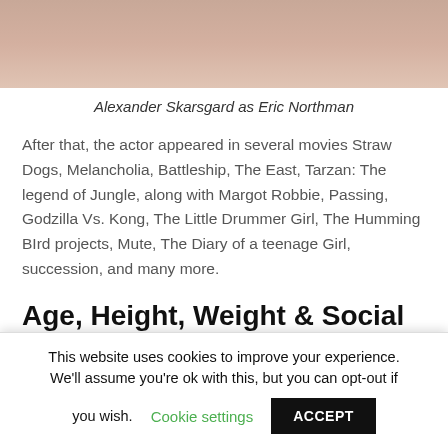[Figure (photo): Partial image of a person's torso with a book cover showing text 'YOUR HEART' in red letters]
Alexander Skarsgard as Eric Northman
After that, the actor appeared in several movies Straw Dogs, Melancholia, Battleship, The East, Tarzan: The legend of Jungle, along with Margot Robbie, Passing, Godzilla Vs. Kong, The Little Drummer Girl, The Humming BIrd projects, Mute, The Diary of a teenage Girl, succession, and many more.
Age, Height, Weight & Social Media
This website uses cookies to improve your experience. We'll assume you're ok with this, but you can opt-out if you wish. Cookie settings ACCEPT